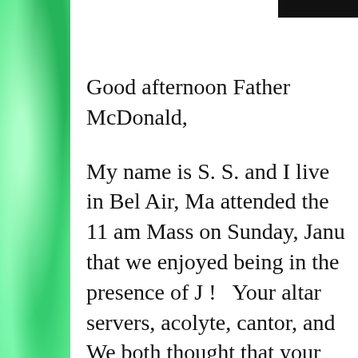[Figure (illustration): Green textured watercolor sidebar on the left edge of the page]
Good afternoon Father McDonald,
My name is S. S. and I live in Bel Air, Ma attended the 11 am Mass on Sunday, Janu that we enjoyed being in the presence of J ! Your altar servers, acolyte, cantor, and We both thought that your church is very the architecture was a classic Catholic d people and the building!) reminded me of Flower, in Baltimore.